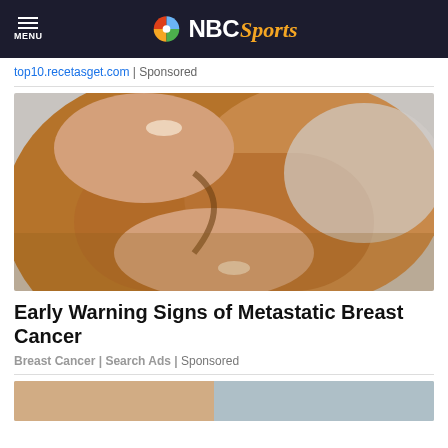NBC Sports
top10.recetasget.com | Sponsored
[Figure (photo): Close-up photo of a person in an orange/brown shirt with hands pressing on chest area]
Early Warning Signs of Metastatic Breast Cancer
Breast Cancer | Search Ads | Sponsored
[Figure (photo): Partial view of another image at the bottom of the page]